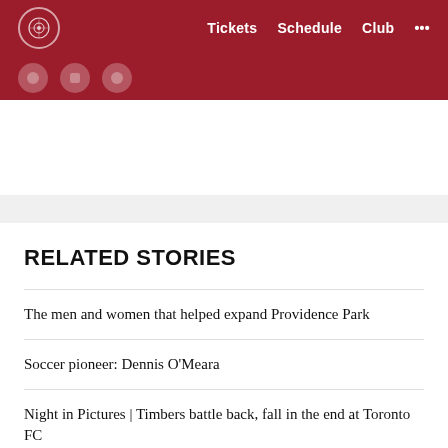Tickets   Schedule   Club   ...
RELATED STORIES
The men and women that helped expand Providence Park
Soccer pioneer: Dennis O'Meara
Night in Pictures | Timbers battle back, fall in the end at Toronto FC